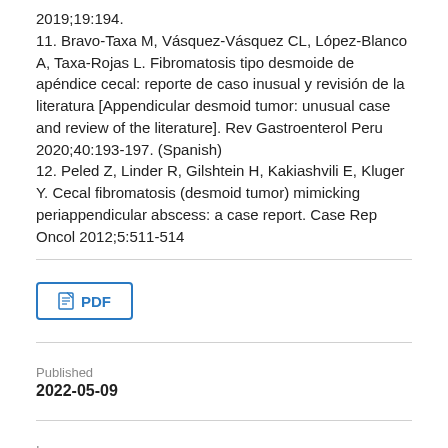2019;19:194.
11. Bravo-Taxa M, Vásquez-Vásquez CL, López-Blanco A, Taxa-Rojas L. Fibromatosis tipo desmoide de apéndice cecal: reporte de caso inusual y revisión de la literatura [Appendicular desmoid tumor: unusual case and review of the literature]. Rev Gastroenterol Peru 2020;40:193-197. (Spanish)
12. Peled Z, Linder R, Gilshtein H, Kakiashvili E, Kluger Y. Cecal fibromatosis (desmoid tumor) mimicking periappendicular abscess: a case report. Case Rep Oncol 2012;5:511-514
[Figure (other): PDF download button with document icon and text 'PDF']
Published
2022-05-09
Issue
Vol 8 No 2 (2022): Mar-Apr 2022
Section